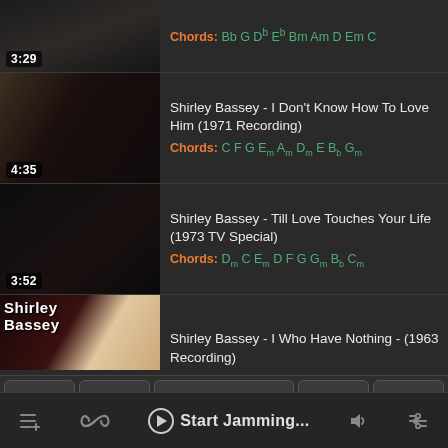[Figure (screenshot): Music app UI showing a list of Shirley Bassey videos with chord information, thumbnails, a chord strip, and a bottom navigation bar with Start Jamming button.]
Chords: Bb G Db Eb Bm Am D Em C
Shirley Bassey - I Don't Know How To Love Him (1971 Recording)
Chords: C F G Em Am Dm E Bb Gm
Shirley Bassey - Till Love Touches Your Life (1973 TV Special)
Chords: Dm C Em D F G Gm Bb Cm
Shirley Bassey - I Who Have Nothing - (1963 Recording)
Start Jamming...